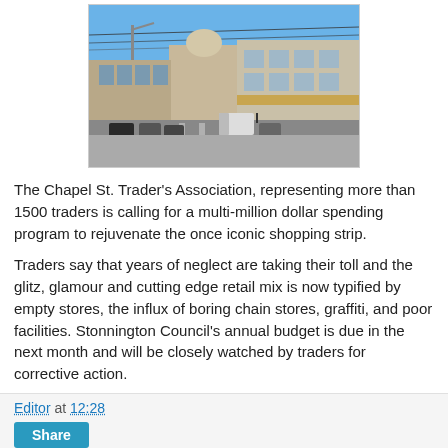[Figure (photo): Street scene of Chapel Street showing historic buildings, storefronts with awnings, parked and moving cars, and clear blue sky]
The Chapel St. Trader's Association, representing more than 1500 traders is calling for a multi-million dollar spending program to rejuvenate the once iconic shopping strip.
Traders say that years of neglect are taking their toll and the glitz, glamour and cutting edge retail mix is now typified by empty stores, the influx of boring chain stores, graffiti, and poor facilities. Stonnington Council's annual budget is due in the next month and will be closely watched by traders for corrective action.
Editor at 12:28
Share